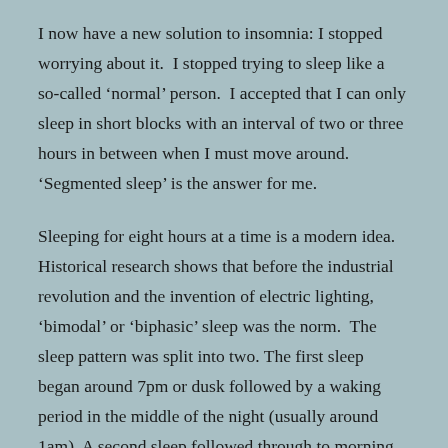I now have a new solution to insomnia: I stopped worrying about it.  I stopped trying to sleep like a so-called ‘normal’ person.  I accepted that I can only sleep in short blocks with an interval of two or three hours in between when I must move around.  ‘Segmented sleep’ is the answer for me.
Sleeping for eight hours at a time is a modern idea. Historical research shows that before the industrial revolution and the invention of electric lighting, ‘bimodal’ or ‘biphasic’ sleep was the norm.  The sleep pattern was split into two. The first sleep began around 7pm or dusk followed by a waking period in the middle of the night (usually around 1am). A second sleep followed through to morning. The French called the waking interval ‘dorveille’ or ‘wakesleep’.  Before